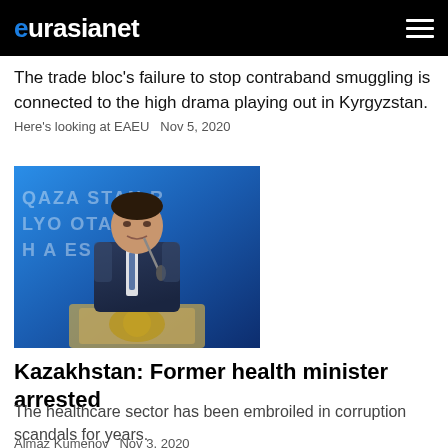eurasianet
The trade bloc's failure to stop contraband smuggling is connected to the high drama playing out in Kyrgyzstan.
Here's looking at EAEU Nov 5, 2020
[Figure (photo): Man in suit speaking at a podium with Kazakh text visible on backdrop]
Kazakhstan: Former health minister arrested
The healthcare sector has been embroiled in corruption scandals for years.
Almaz Kumenov Nov 3, 2020